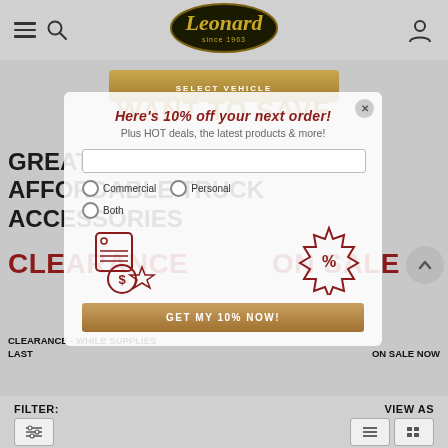Leonard since 1963 — navigation header with hamburger menu, search, logo, and user account icon
WANT TO SAVE
GREAT DEALS ON AFFORDABLE TRUCK ACCESSORIES
SELECT VEHICLE
Here's 10% off your next order!
Plus HOT deals, the latest products & more!
Commercial
Personal
Both
GET MY 10% NOW!
CLEARANCE
ON SALE
CLEARANCE - WHILE SUPPLIES LAST
ON SALE NOW
FILTER:
VIEW AS